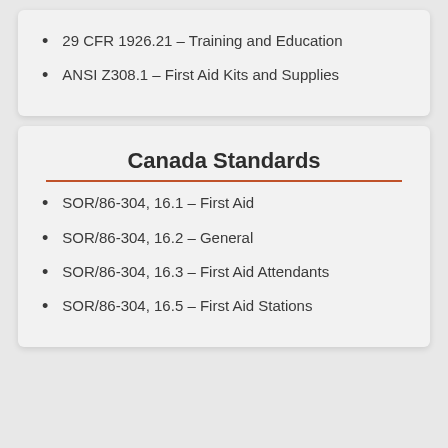29 CFR 1926.21 – Training and Education
ANSI Z308.1 – First Aid Kits and Supplies
Canada Standards
SOR/86-304, 16.1 – First Aid
SOR/86-304, 16.2 – General
SOR/86-304, 16.3 – First Aid Attendants
SOR/86-304, 16.5 – First Aid Stations